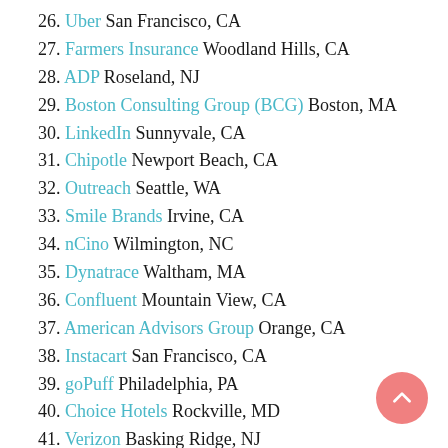26. Uber San Francisco, CA
27. Farmers Insurance Woodland Hills, CA
28. ADP Roseland, NJ
29. Boston Consulting Group (BCG) Boston, MA
30. LinkedIn Sunnyvale, CA
31. Chipotle Newport Beach, CA
32. Outreach Seattle, WA
33. Smile Brands Irvine, CA
34. nCino Wilmington, NC
35. Dynatrace Waltham, MA
36. Confluent Mountain View, CA
37. American Advisors Group Orange, CA
38. Instacart San Francisco, CA
39. goPuff Philadelphia, PA
40. Choice Hotels Rockville, MD
41. Verizon Basking Ridge, NJ
42. Egnyte Mountain View, CA